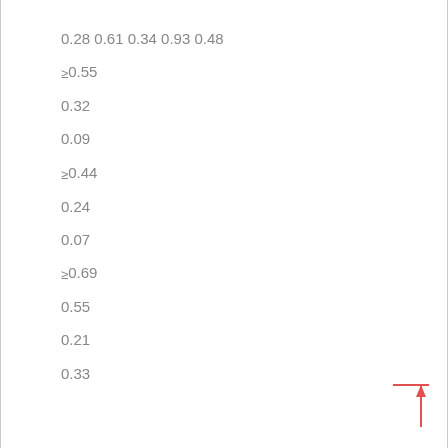0.28 0.61 0.34 0.93 0.48
≥0.55
0.32
0.09
≥0.44
0.24
0.07
≥0.69
0.55
0.21
0.33